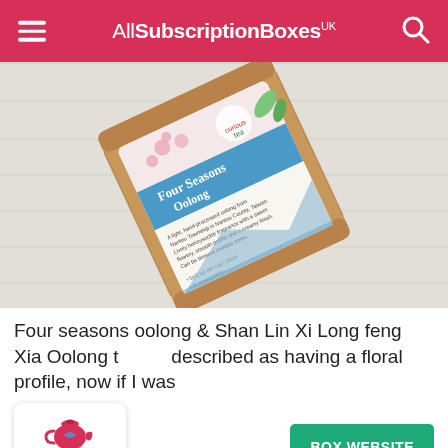AllSubscriptionBoxes UK
[Figure (photo): A brown kraft paper pouch of 'Four Seasons Oolong' tea by Curious Tea, angled on a white wooden surface. The label features pink cherry blossoms, a blue wave stripe, and descriptive text about the tea.]
Four seasons oolong & Shan Lin Xi Long feng Xia Oolong t described as having a floral profile, now if I was
[Figure (logo): Curious Tea logo: a red teapot with a blue swirl, above the words 'curious tea' in grey/teal text]
BOX WEBSITE